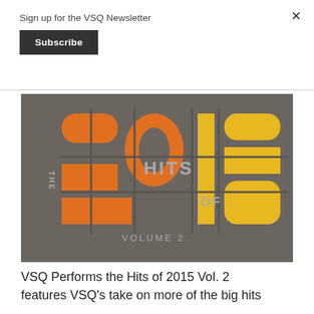Sign up for the VSQ Newsletter
Subscribe
[Figure (illustration): Album art for 'The Hits of 2015 Volume 2' — dark grey background with large stylized numbers '2015' in orange and yellow, text 'THE HITS OF' and 'VOLUME 2' overlaid]
VSQ Performs the Hits of 2015 Vol. 2 features VSQ's take on more of the big hits